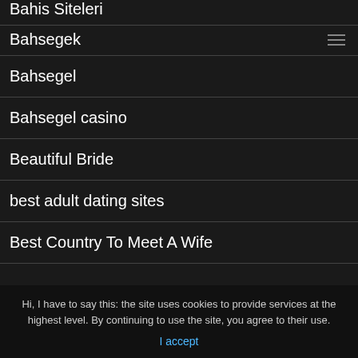Bahis Siteleri
Bahsegek
Bahsegel
Bahsegel casino
Beautiful Bride
best adult dating sites
Best Country To Meet A Wife
Best Dating Website
Hi, I have to say this: the site uses cookies to provide services at the highest level. By continuing to use the site, you agree to their use.
I accept